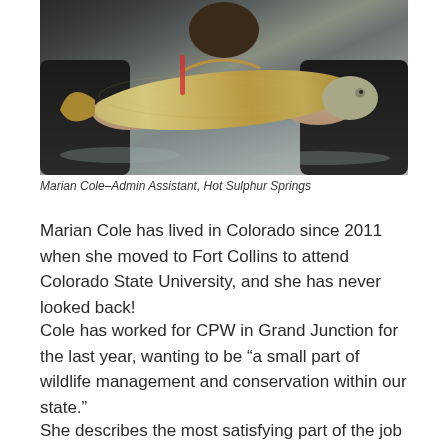[Figure (photo): A person holding a fish (likely a whitefish or similar species) with both hands outdoors near water. The person is wearing dark clothing and appears to be a wildlife or fisheries worker.]
Marian Cole–Admin Assistant, Hot Sulphur Springs
Marian Cole has lived in Colorado since 2011 when she moved to Fort Collins to attend Colorado State University, and she has never looked back!
Cole has worked for CPW in Grand Junction for the last year, wanting to be “a small part of wildlife management and conservation within our state.”
She describes the most satisfying part of the job as “being